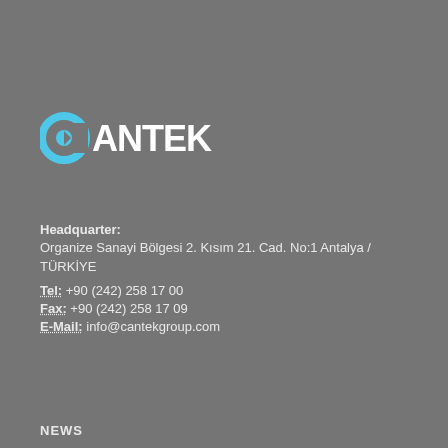[Figure (logo): CANTEK company logo — white text with cyan C letter containing an arrow/circle element]
Headquarter:
Organize Sanayi Bölgesi 2. Kısım 21. Cad. No:1 Antalya / TÜRKİYE
Tel: +90 (242) 258 17 00
Fax: +90 (242) 258 17 09
E-Mail: info@cantekgroup.com
NEWS